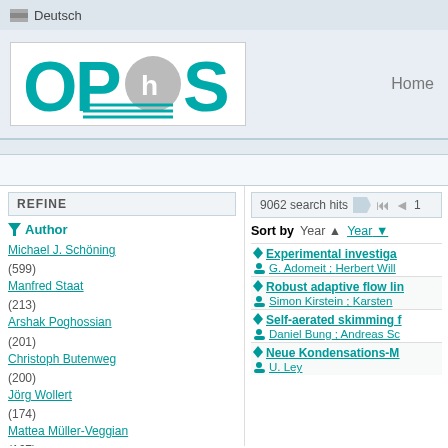Deutsch
[Figure (logo): OPUS repository logo with teal letters O, P, compass icon, S]
Home
REFINE
9062 search hits
Author
Sort by   Year ▲   Year ▼
Michael J. Schöning (599)
Manfred Staat (213)
Arshak Poghossian (201)
Christoph Butenweg (200)
Jörg Wollert (174)
Mattea Müller-Veggian (167)
Arnold Förster (147)
Alexander Ferrein (136)
Bernd Dachwald (136)
Gerhard Artmann (118)
Experimental investiga... G. Adomeit ; Herbert Will...
Robust adaptive flow lin... Simon Kirstein ; Karsten ...
Self-aerated skimming f... Daniel Bung ; Andreas Sc...
Neue Kondensations-M... U. Ley ...